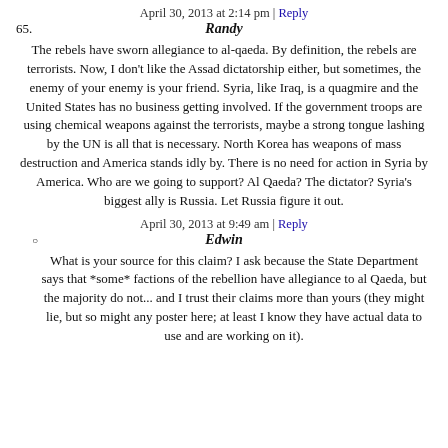April 30, 2013 at 2:14 pm | Reply
65. Randy
The rebels have sworn allegiance to al-qaeda. By definition, the rebels are terrorists. Now, I don't like the Assad dictatorship either, but sometimes, the enemy of your enemy is your friend. Syria, like Iraq, is a quagmire and the United States has no business getting involved. If the government troops are using chemical weapons against the terrorists, maybe a strong tongue lashing by the UN is all that is necessary. North Korea has weapons of mass destruction and America stands idly by. There is no need for action in Syria by America. Who are we going to support? Al Qaeda? The dictator? Syria's biggest ally is Russia. Let Russia figure it out.
April 30, 2013 at 9:49 am | Reply
Edwin
What is your source for this claim? I ask because the State Department says that *some* factions of the rebellion have allegiance to al Qaeda, but the majority do not... and I trust their claims more than yours (they might lie, but so might any poster here; at least I know they have actual data to use and are working on it).